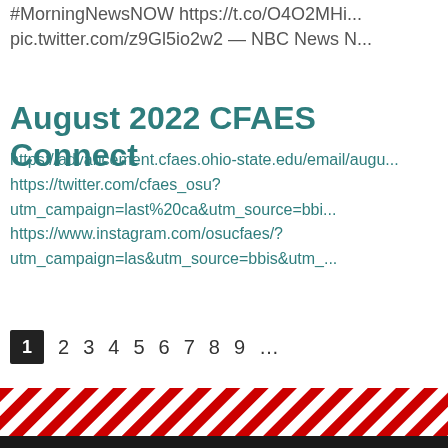#MorningNewsNOW https://t.co/O4O2MHi... pic.twitter.com/z9Gl5io2w2 — NBC News N...
August 2022 CFAES Connect
https://advancement.cfaes.ohio-state.edu/email/augu
https://twitter.com/cfaes_osu?
utm_campaign=last%20ca&utm_source=bbi...
https://www.instagram.com/osucfaes/?
utm_campaign=las&utm_source=bbis&utm_...
1  2  3  4  5  6  7  8  9  ...
[Figure (other): Red and white diagonal striped decorative footer band followed by a dark bar at the very bottom]